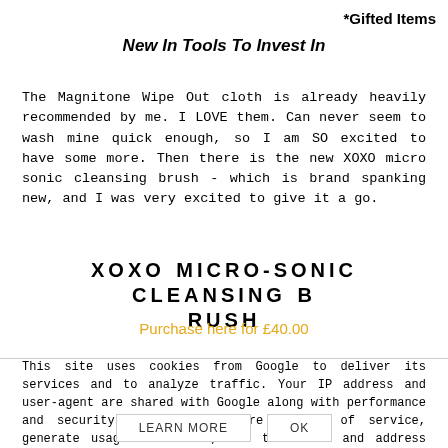*Gifted Items
New In Tools To Invest In
The Magnitone Wipe Out cloth is already heavily recommended by me. I LOVE them. Can never seem to wash mine quick enough, so I am SO excited to have some more. Then there is the new XOXO micro sonic cleansing brush - which is brand spanking new, and I was very excited to give it a go.
XOXO MICRO-SONIC CLEANSING BRUSH
Purchase here for £40.00
This site uses cookies from Google to deliver its services and to analyze traffic. Your IP address and user-agent are shared with Google along with performance and security metrics to ensure quality of service, generate usage statistics, and to detect and address abuse.
LEARN MORE    OK